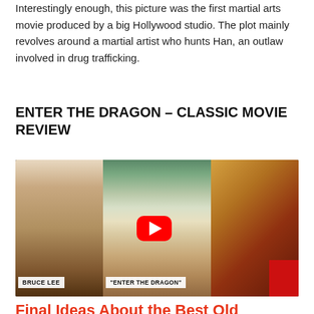Interestingly enough, this picture was the first martial arts movie produced by a big Hollywood studio. The plot mainly revolves around a martial artist who hunts Han, an outlaw involved in drug trafficking.
ENTER THE DRAGON – CLASSIC MOVIE REVIEW
[Figure (screenshot): YouTube video thumbnail composite showing Bruce Lee in a fighting pose on the left, a woman reviewer in the center with a YouTube play button overlay, and an Enter the Dragon movie poster on the right. Bottom labels read 'BRUCE LEE' and '"ENTER THE DRAGON"'.]
Final Ideas About the Best Old